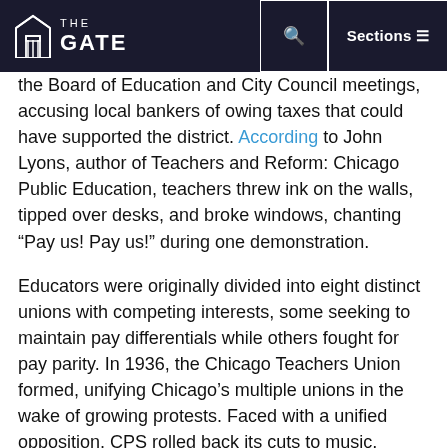THE GATE
the Board of Education and City Council meetings, accusing local bankers of owing taxes that could have supported the district. According to John Lyons, author of Teachers and Reform: Chicago Public Education, teachers threw ink on the walls, tipped over desks, and broke windows, chanting “Pay us! Pay us!” during one demonstration.
Educators were originally divided into eight distinct unions with competing interests, some seeking to maintain pay differentials while others fought for pay parity. In 1936, the Chicago Teachers Union formed, unifying Chicago’s multiple unions in the wake of growing protests. Faced with a unified opposition, CPS rolled back its cuts to music, physical education,